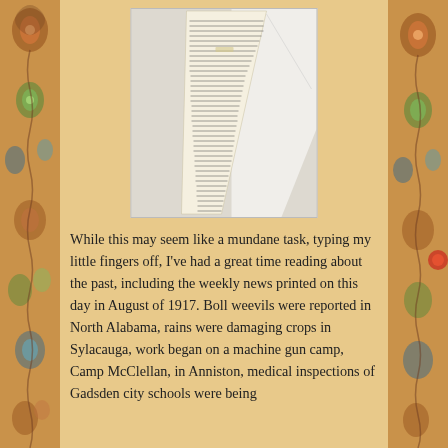[Figure (photo): A photograph of a narrow, tapered newspaper clipping placed on a white surface. The clipping contains dense small text in columns, typical of early 20th century newspaper print. The clipping is wider at the top and tapers toward the bottom.]
While this may seem like a mundane task, typing my little fingers off, I've had a great time reading about the past, including the weekly news printed on this day in August of 1917.  Boll weevils were reported in North Alabama, rains were damaging crops in Sylacauga, work began on a machine gun camp, Camp McClellan,  in Anniston, medical inspections of Gadsden city schools were being